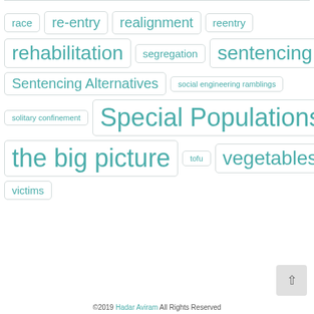race
re-entry
realignment
reentry
rehabilitation
segregation
sentencing
Sentencing Alternatives
social engineering ramblings
solitary confinement
Special Populations
the big picture
tofu
vegetables
victims
©2019 Hadar Aviram All Rights Reserved